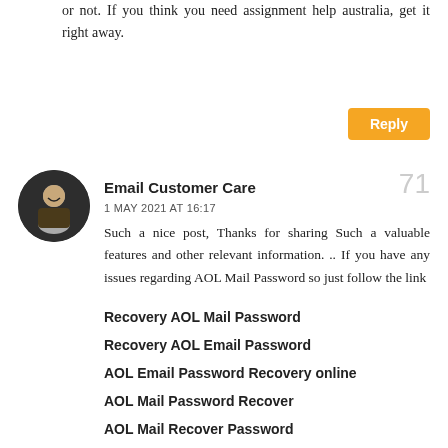or not. If you think you need assignment help australia, get it right away.
Reply
Email Customer Care
1 MAY 2021 AT 16:17
Such a nice post, Thanks for sharing Such a valuable features and other relevant information. .. If you have any issues regarding AOL Mail Password so just follow the link
Recovery AOL Mail Password
Recovery AOL Email Password
AOL Email Password Recovery online
AOL Mail Password Recover
AOL Mail Recover Password
They offer the best quality trophies that